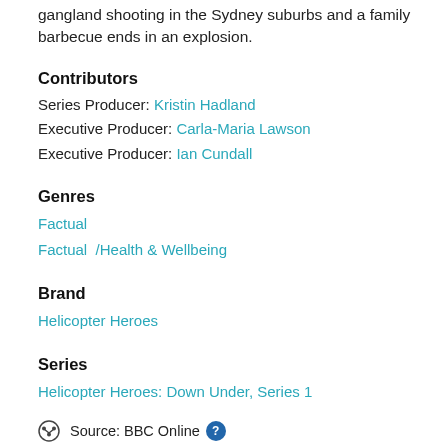RAF veteran John Legge is scrambled to a gangland shooting in the Sydney suburbs and a family barbecue ends in an explosion.
Contributors
Series Producer: Kristin Hadland
Executive Producer: Carla-Maria Lawson
Executive Producer: Ian Cundall
Genres
Factual
Factual / Health & Wellbeing
Brand
Helicopter Heroes
Series
Helicopter Heroes: Down Under, Series 1
Source: BBC Online